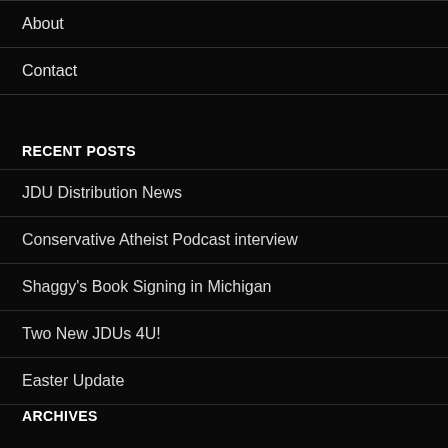About
Contact
RECENT POSTS
JDU Distribution News
Conservative Atheist Podcast interview
Shaggy's Book Signing in Michigan
Two New JDUs 4U!
Easter Update
ARCHIVES